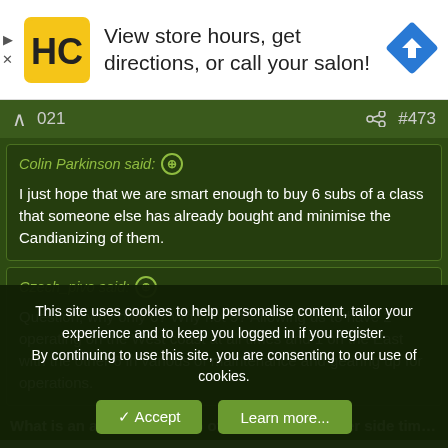[Figure (screenshot): Advertisement banner: HC logo on yellow background, text 'View store hours, get directions, or call your salon!', and a blue diamond navigation arrow icon on the right.]
021   #473
Colin Parkinson said: ↑

I just hope that we are smart enough to buy 6 subs of a class that someone else has already bought and minimise the Candianizing of them.
Czech_pivo said: ↑

Question, why only 6? Why not 9? Allowing us to have 2 operating on the West coast at all times and 1 on the East with the other 6 in various of maintenance and gearing up for operations.
What is an acceptable ratio of deployment to pier side time?
This site uses cookies to help personalise content, tailor your experience and to keep you logged in if you register.
By continuing to use this site, you are consenting to our use of cookies.
✓ Accept   Learn more...